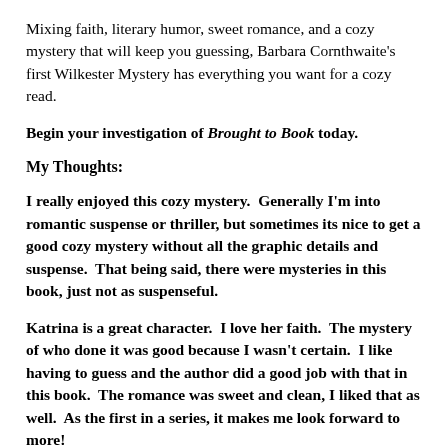Mixing faith, literary humor, sweet romance, and a cozy mystery that will keep you guessing, Barbara Cornthwaite's first Wilkester Mystery has everything you want for a cozy read.
Begin your investigation of Brought to Book today.
My Thoughts:
I really enjoyed this cozy mystery.  Generally I'm into romantic suspense or thriller, but sometimes its nice to get a good cozy mystery without all the graphic details and suspense.  That being said, there were mysteries in this book, just not as suspenseful.
Katrina is a great character.  I love her faith.  The mystery of who done it was good because I wasn't certain.  I like having to guess and the author did a good job with that in this book.  The romance was sweet and clean, I liked that as well.  As the first in a series, it makes me look forward to more!